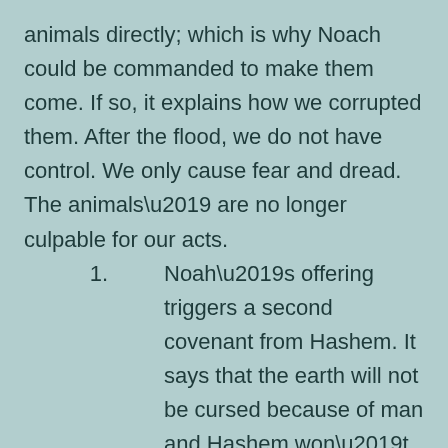animals directly; which is why Noach could be commanded to make them come. If so, it explains how we corrupted them. After the flood, we do not have control. We only cause fear and dread. The animals’ are no longer culpable for our acts.
1. Noah’s offering triggers a second covenant from Hashem. It says that the earth will not be cursed because of man and Hashem won’t hit every living thing – but it implies that wrath can be reserved for man.